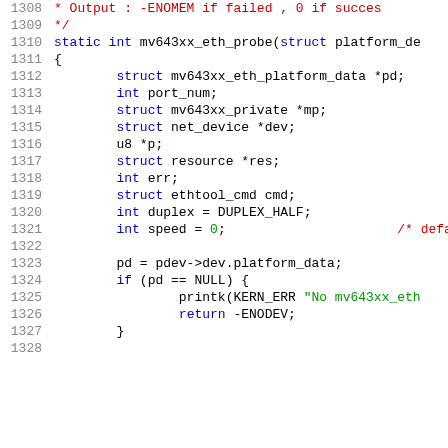[Figure (screenshot): Source code listing in C showing lines 1308-1328 of a Linux kernel ethernet driver file, with syntax highlighting. Line numbers in grey on left, keywords in blue, strings in green, comments in red.]